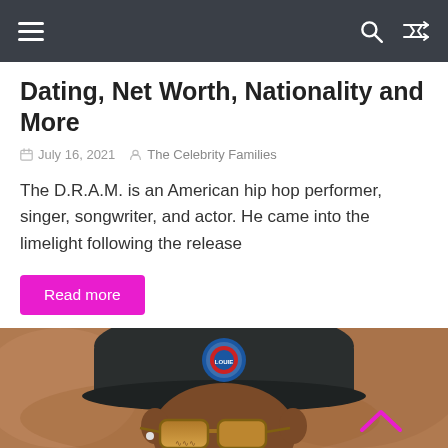Navigation bar with hamburger menu, search icon, and shuffle icon
Dating, Net Worth, Nationality and More
July 16, 2021 · The Celebrity Families
The D.R.A.M. is an American hip hop performer, singer, songwriter, and actor. He came into the limelight following the release
Read more
[Figure (photo): Photo of D.R.A.M. wearing a dark baseball cap with a blue circular logo patch, and brown gradient sunglasses. He has visible tattoos on his face/neck. Background appears to be a wooden surface.]